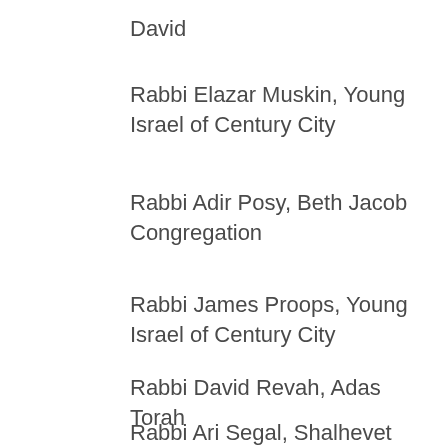David
Rabbi Elazar Muskin, Young Israel of Century City
Rabbi Adir Posy, Beth Jacob Congregation
Rabbi James Proops, Young Israel of Century City
Rabbi David Revah, Adas Torah
Rabbi Ari Segal, Shalhevet High School